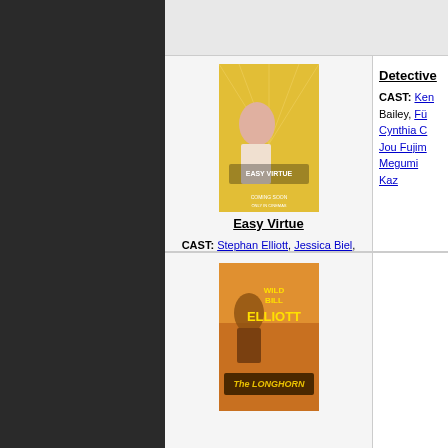[Figure (photo): Movie poster for Easy Virtue (2008), yellow toned poster with cast members]
Easy Virtue
CAST: Stephan Elliott, Jessica Biel, Ben Barnes, Kristin Scott Thomas, Colin Firth, YEAR: 2008
Detective
CAST: Ken... Bailey, Fü... Cynthia C... Jou Fujim... Megumi... Kaz...
[Figure (photo): Movie poster for The Longhorn featuring Wild Bill Elliott]